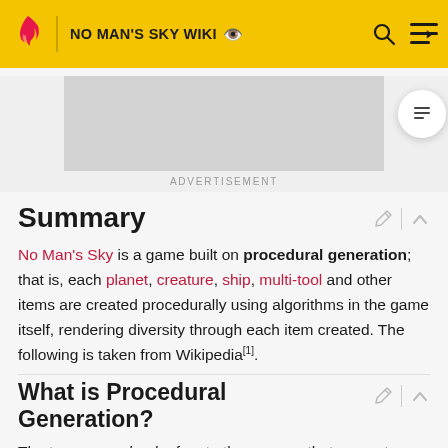NO MAN'S SKY WIKI
[Figure (screenshot): Advertisement placeholder box]
ADVERTISEMENT
Summary
No Man's Sky is a game built on procedural generation; that is, each planet, creature, ship, multi-tool and other items are created procedurally using algorithms in the game itself, rendering diversity through each item created. The following is taken from Wikipedia[1].
What is Procedural Generation?
The term procedural refers to the process that computes